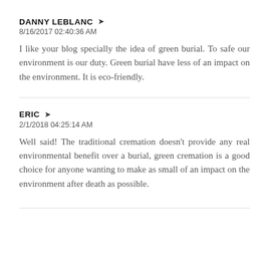DANNY LEBLANC ➤
8/16/2017 02:40:36 AM
I like your blog specially the idea of green burial. To safe our environment is our duty. Green burial have less of an impact on the environment. It is eco-friendly.
ERIC ➤
2/1/2018 04:25:14 AM
Well said! The traditional cremation doesn't provide any real environmental benefit over a burial, green cremation is a good choice for anyone wanting to make as small of an impact on the environment after death as possible.